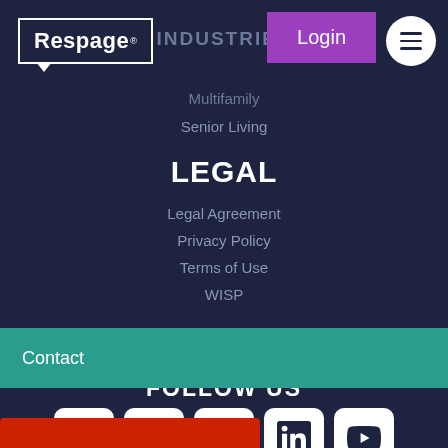[Figure (logo): Respage logo — white text in a speech-bubble outlined box]
INDUSTRIES
Login
Multifamily
Senior Living
LEGAL
Legal Agreement
Privacy Policy
Terms of Use
WISP
FOLLOW US
[Figure (illustration): Social media icons row: Facebook, Instagram, Twitter, LinkedIn, YouTube — white rounded squares with dark icons]
Contact